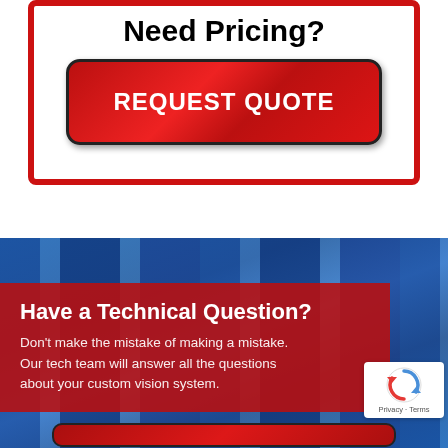Need Pricing?
[Figure (illustration): Red button with white bold text reading REQUEST QUOTE, with rounded corners and dark border]
[Figure (photo): Industrial blue machinery/equipment in background behind a red overlay box]
Have a Technical Question?
Don't make the mistake of making a mistake. Our tech team will answer all the questions about your custom vision system.
[Figure (illustration): reCAPTCHA badge with rotating arrows logo and Privacy · Terms links]